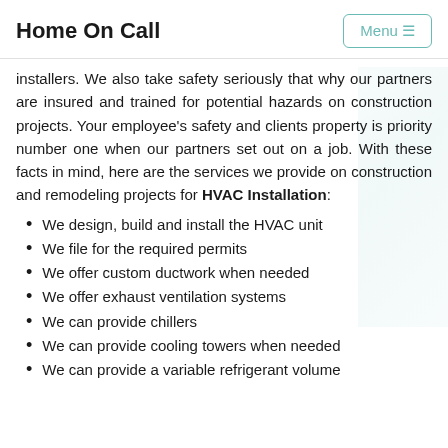Home On Call
installers. We also take safety seriously that why our partners are insured and trained for potential hazards on construction projects. Your employee's safety and clients property is priority number one when our partners set out on a job. With these facts in mind, here are the services we provide on construction and remodeling projects for HVAC Installation:
We design, build and install the HVAC unit
We file for the required permits
We offer custom ductwork when needed
We offer exhaust ventilation systems
We can provide chillers
We can provide cooling towers when needed
We can provide a variable refrigerant volume